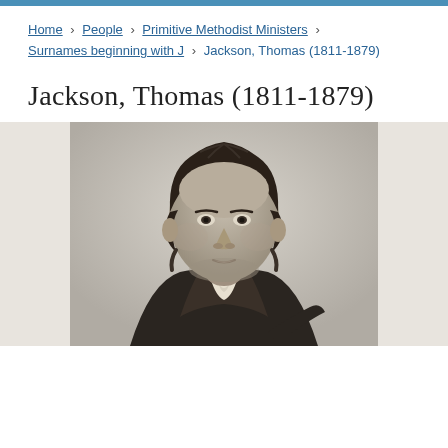Home > People > Primitive Methodist Ministers > Surnames beginning with J > Jackson, Thomas (1811-1879)
Jackson, Thomas (1811-1879)
[Figure (photo): Black and white engraved portrait of Thomas Jackson (1811-1879), a middle-aged man with medium-length dark hair, seated, wearing a dark coat with white collar/cravat, looking slightly to his left.]